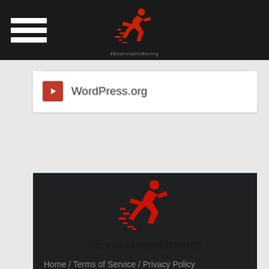Navigation header with hamburger menu and Exercise is Boring logo
WordPress.org
[Figure (logo): Exercise is Boring running figure logo in red on dark background]
#ExerciseIsBoring
Home / Terms of Service / Privacy Policy Copyright text 2017 by Exercise is Boring. - Designed by Thrive Themes | Powered by WordPress